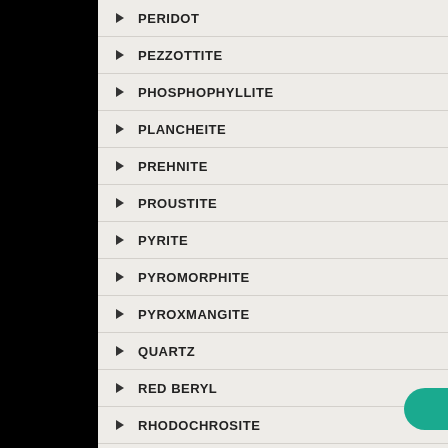PERIDOT
PEZZOTTITE
PHOSPHOPHYLLITE
PLANCHEITE
PREHNITE
PROUSTITE
PYRITE
PYROMORPHITE
PYROXMANGITE
QUARTZ
RED BERYL
RHODOCHROSITE
RHODON[ITE]
ROMANECHITE